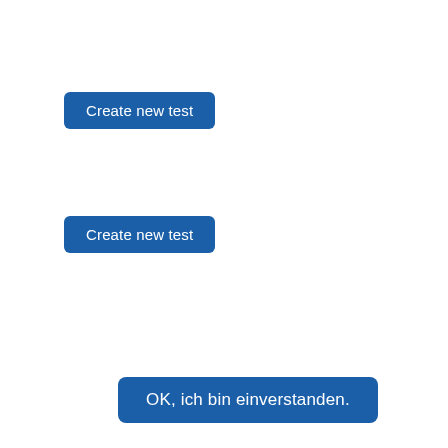[Figure (screenshot): A blue rounded button labeled 'Create new test' positioned in the upper-left area of the page.]
[Figure (screenshot): A blue rounded button labeled 'Create new test' positioned in the middle-left area of the page.]
[Figure (screenshot): A blue rounded button labeled 'OK, ich bin einverstanden.' positioned in the lower-center area of the page.]